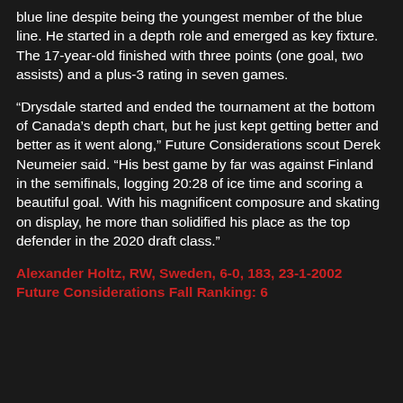blue line despite being the youngest member of the blue line. He started in a depth role and emerged as key fixture. The 17-year-old finished with three points (one goal, two assists) and a plus-3 rating in seven games.
“Drysdale started and ended the tournament at the bottom of Canada’s depth chart, but he just kept getting better and better as it went along,” Future Considerations scout Derek Neumeier said. “His best game by far was against Finland in the semifinals, logging 20:28 of ice time and scoring a beautiful goal. With his magnificent composure and skating on display, he more than solidified his place as the top defender in the 2020 draft class.”
Alexander Holtz, RW, Sweden, 6-0, 183, 23-1-2002
Future Considerations Fall Ranking: 6